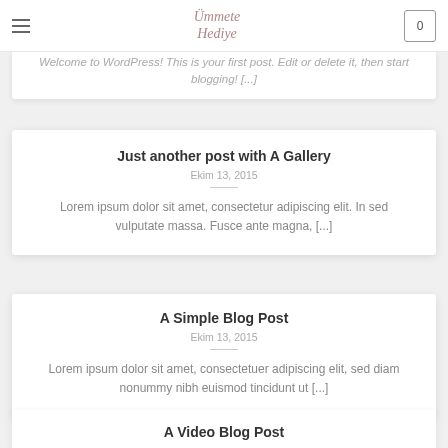Ummete Hediye — navigation header with logo and cart
Welcome to WordPress! This is your first post. Edit or delete it, then start blogging! [...]
Just another post with A Gallery
Ekim 13, 2015
Lorem ipsum dolor sit amet, consectetur adipiscing elit. In sed vulputate massa. Fusce ante magna, [...]
A Simple Blog Post
Ekim 13, 2015
Lorem ipsum dolor sit amet, consectetuer adipiscing elit, sed diam nonummy nibh euismod tincidunt ut [...]
A Video Blog Post